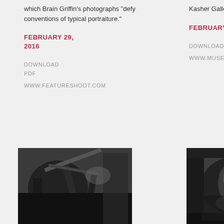which Brain Griffin's photographs "defy conventions of typical portraiture."
FEBRUARY 29, 2016
DOWNLOAD PDF
WWW.FEATURESHOOT.COM
Kasher Gallery.
FEBRUARY 27, 2016
DOWNLOAD PDF
WWW.MUSEEMAGAZINE.COM
[Figure (photo): Black and white photograph, close-up of dark objects, possibly bags or straps]
KONBINI ON BRIAN
[Figure (photo): Black and white photograph of a person's face, close-up, dark tones]
PAUL GORMAN ON